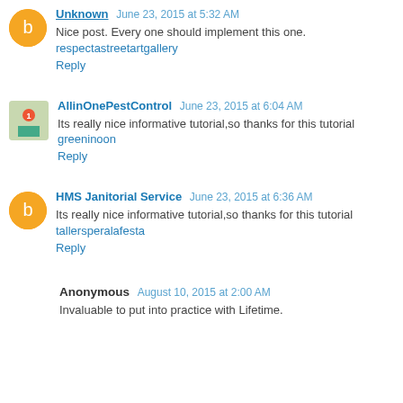Unknown June 23, 2015 at 5:32 AM
Nice post. Every one should implement this one.
respectatreetartgallery
Reply
AllinOnePestControl June 23, 2015 at 6:04 AM
Its really nice informative tutorial,so thanks for this tutorial
greeninoon
Reply
HMS Janitorial Service June 23, 2015 at 6:36 AM
Its really nice informative tutorial,so thanks for this tutorial
tallersperalafesta
Reply
Anonymous August 10, 2015 at 2:00 AM
Invaluable to put into practice with Lifetime.